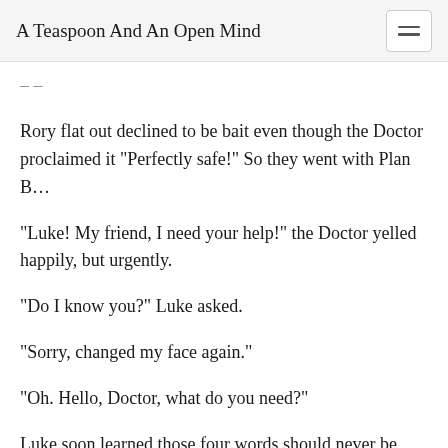A Teaspoon And An Open Mind
Rory flat out declined to be bait even though the Doctor proclaimed it "Perfectly safe!" So they went with Plan B…
"Luke! My friend, I need your help!" the Doctor yelled happily, but urgently.
"Do I know you?" Luke asked.
"Sorry, changed my face again."
"Oh. Hello, Doctor, what do you need?"
Luke soon learned those four words should never be said around the Doctor as he shortly found himself sitting at his kitchen table with Clyde surrounded by three adults each clutching pilfered — from Clyde's home no less — Jars of t...